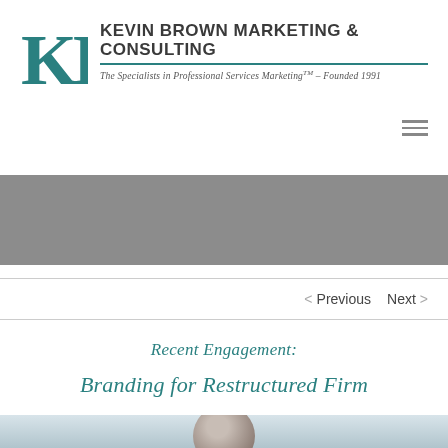KEVIN BROWN MARKETING & CONSULTING — The Specialists in Professional Services Marketing™ – Founded 1991
[Figure (illustration): Gray banner/hero image band]
< Previous   Next >
Recent Engagement:
Branding for Restructured Firm
[Figure (photo): Partial portrait photo of a person, cropped at bottom of page]